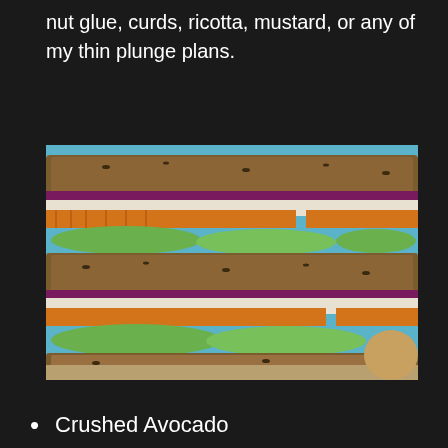nut glue, curds, ricotta, mustard, or any of my thin plunge plans.
[Figure (photo): A stacked sandwich on whole grain seeded bread with layers of avocado slices, shredded carrot, red cabbage, and white cabbage/coleslaw filling, photographed against a light blue background.]
Crushed Avocado